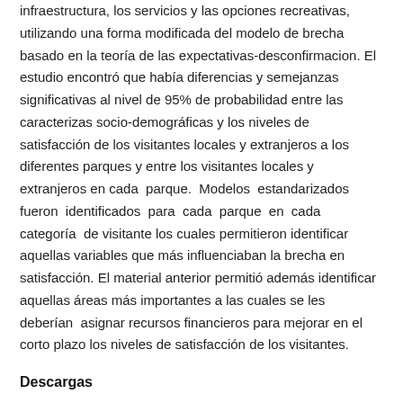infraestructura, los servicios y las opciones recreativas, utilizando una forma modificada del modelo de brecha basado en la teoría de las expectativas-desconfirmacion. El estudio encontró que había diferencias y semejanzas significativas al nivel de 95% de probabilidad entre las caracterizas socio-demográficas y los niveles de satisfacción de los visitantes locales y extranjeros a los diferentes parques y entre los visitantes locales y extranjeros en cada parque. Modelos estandarizados fueron identificados para cada parque en cada categoría de visitante los cuales permitieron identificar aquellas variables que más influenciaban la brecha en satisfacción. El material anterior permitió además identificar aquellas áreas más importantes a las cuales se les deberían asignar recursos financieros para mejorar en el corto plazo los niveles de satisfacción de los visitantes.
Descargas